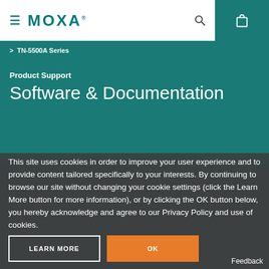≡  MOXA
TN-5500A Series
Product Support
Software & Documentation
This site uses cookies in order to improve your user experience and to provide content tailored specifically to your interests. By continuing to browse our site without changing your cookie settings (click the Learn More button for more information), or by clicking the OK button below, you hereby acknowledge and agree to our Privacy Policy and use of cookies.
LEARN MORE
OK
Feedback